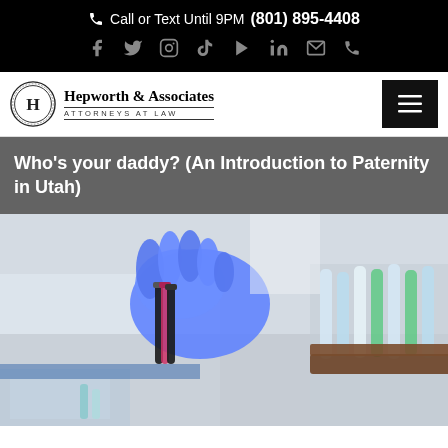Call or Text Until 9PM (801) 895-4408
[Figure (logo): Social media icons row: Facebook, Twitter, Instagram, TikTok, YouTube, LinkedIn, Email, Phone]
[Figure (logo): Hepworth & Associates Attorneys at Law logo with circular H emblem]
Who's your daddy? (An Introduction to Paternity in Utah)
[Figure (photo): Close-up of a lab technician wearing blue gloves handling blood sample tubes in a laboratory setting with test tube rack]